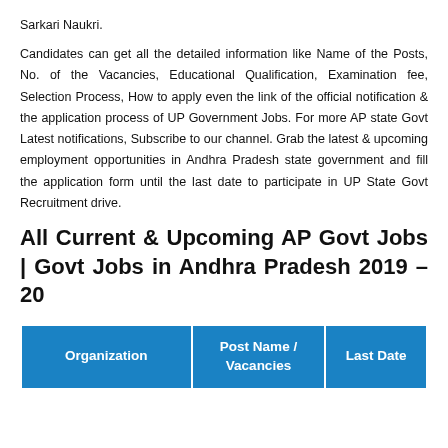Sarkari Naukri.
Candidates can get all the detailed information like Name of the Posts, No. of the Vacancies, Educational Qualification, Examination fee, Selection Process, How to apply even the link of the official notification & the application process of UP Government Jobs. For more AP state Govt Latest notifications, Subscribe to our channel. Grab the latest & upcoming employment opportunities in Andhra Pradesh state government and fill the application form until the last date to participate in UP State Govt Recruitment drive.
All Current & Upcoming AP Govt Jobs | Govt Jobs in Andhra Pradesh 2019 – 20
| Organization | Post Name / Vacancies | Last Date |
| --- | --- | --- |